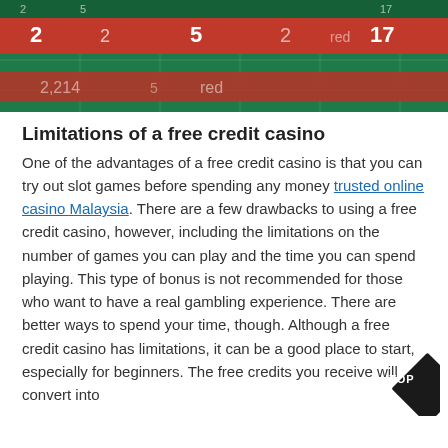[Figure (photo): Close-up photo of a casino roulette/card table with green felt and red sections, showing numbers in white]
Limitations of a free credit casino
One of the advantages of a free credit casino is that you can try out slot games before spending any money trusted online casino Malaysia. There are a few drawbacks to using a free credit casino, however, including the limitations on the number of games you can play and the time you can spend playing. This type of bonus is not recommended for those who want to have a real gambling experience. There are better ways to spend your time, though. Although a free credit casino has limitations, it can be a good place to start, especially for beginners. The free credits you receive will convert into
[Figure (logo): Black diamond-shaped TOP badge button in the bottom right corner]